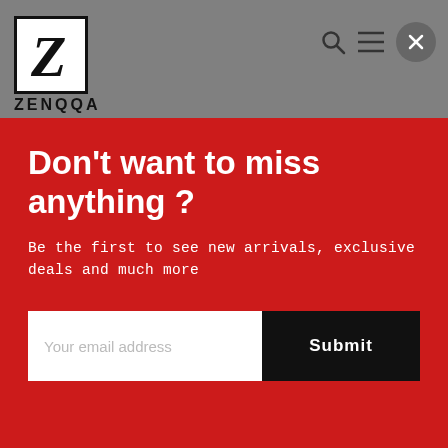[Figure (screenshot): Website navbar with Z logo box, search icon, hamburger menu icon, and cart/close button on grey background]
Don't want to miss anything ?
Be the first to see new arrivals, exclusive deals and much more
Your email address
Submit
Write a review